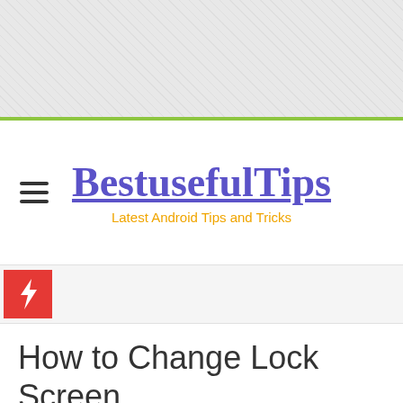[Figure (other): Gray textured banner/header area at top of webpage]
BestusefulTips – Latest Android Tips and Tricks
[Figure (other): Red lightning bolt icon square]
How to Change Lock Screen